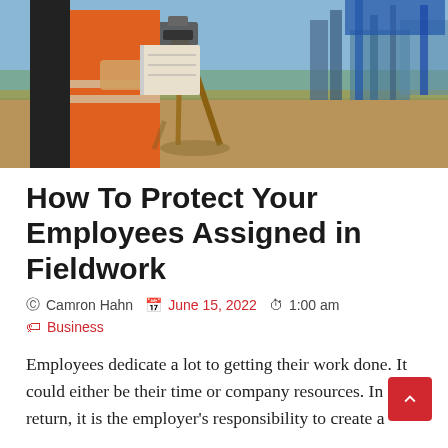[Figure (photo): A construction worker in an orange hi-vis vest writing in a notepad on a surveying tripod at a construction site, outdoors on a sunny day.]
How To Protect Your Employees Assigned in Fieldwork
@ Camron Hahn   June 15, 2022   1:00 am
Business
Employees dedicate a lot to getting their work done. It could either be their time or company resources. In return, it is the employer's responsibility to create a